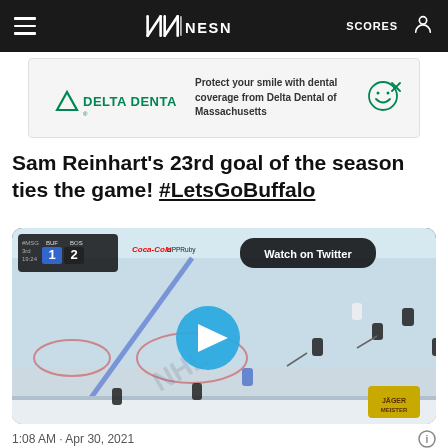NESN — SCORES
[Figure (infographic): Delta Dental advertisement banner: 'Protect your smile with dental coverage from Delta Dental of Massachusetts']
Sam Reinhart's 23rd goal of the season ties the game! #LetsGoBuffalo
[Figure (screenshot): Embedded Twitter video player showing an NHL hockey game on ice with scoreboard showing BUF 1, BOS 2 in 3rd period at 19:24. A blue play button is centered. 'Watch on Twitter' button shown in upper right.]
1:08 AM · Apr 30, 2021